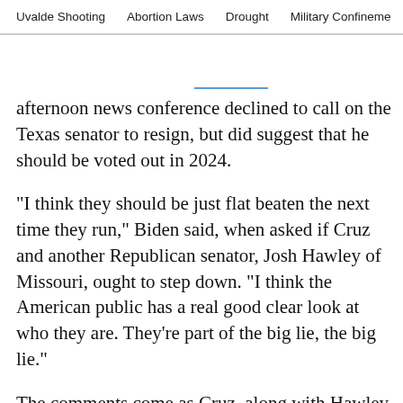Uvalde Shooting   Abortion Laws   Drought   Military Confinement
afternoon news conference declined to call on the Texas senator to resign, but did suggest that he should be voted out in 2024.
"I think they should be just flat beaten the next time they run," Biden said, when asked if Cruz and another Republican senator, Josh Hawley of Missouri, ought to step down. "I think the American public has a real good clear look at who they are. They’re part of the big lie, the big lie."
The comments come as Cruz, along with Hawley, have become focal points of criticism after rioters took over the U.S. Capitol on Wednesday. Both men led efforts within their chamber to reject the certification of votes in some states, and they continued to do so after the attack. Prior to the riot, Cruz called for “an emergency audit” to be conducted before Congress signed off on